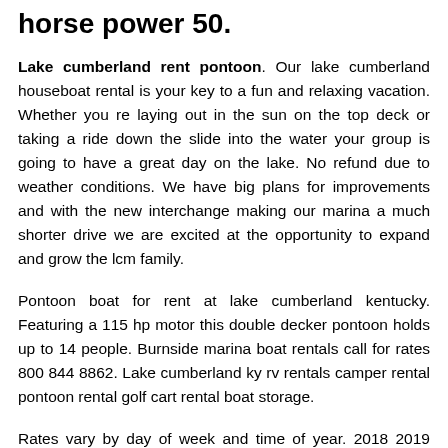horse power 50.
Lake cumberland rent pontoon. Our lake cumberland houseboat rental is your key to a fun and relaxing vacation. Whether you re laying out in the sun on the top deck or taking a ride down the slide into the water your group is going to have a great day on the lake. No refund due to weather conditions. We have big plans for improvements and with the new interchange making our marina a much shorter drive we are excited at the opportunity to expand and grow the lcm family.
Pontoon boat for rent at lake cumberland kentucky. Featuring a 115 hp motor this double decker pontoon holds up to 14 people. Burnside marina boat rentals call for rates 800 844 8862. Lake cumberland ky rv rentals camper rental pontoon rental golf cart rental boat storage.
Rates vary by day of week and time of year. 2018 2019 lowe 23 pontoon 115hp mercury full vinyl floor ski tower four couches walk thru style pontoon. Hourly rentals taken